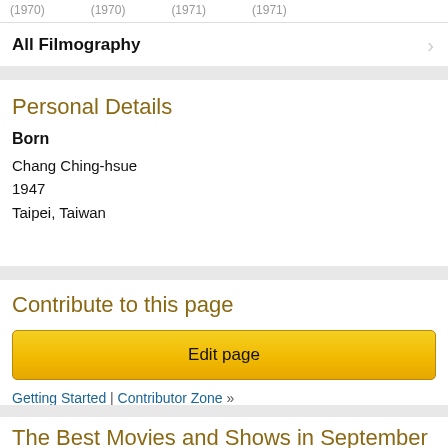(1970)  (1970)  (1971)  (1971)
All Filmography
Personal Details
Born
Chang Ching-hsue
1947
Taipei, Taiwan
Contribute to this page
Edit page
Getting Started | Contributor Zone »
The Best Movies and Shows in September